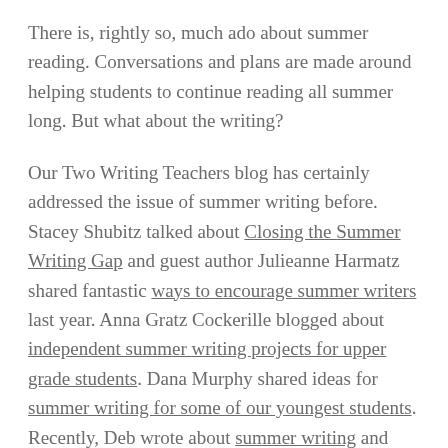There is, rightly so, much ado about summer reading. Conversations and plans are made around helping students to continue reading all summer long. But what about the writing?
Our Two Writing Teachers blog has certainly addressed the issue of summer writing before. Stacey Shubitz talked about Closing the Summer Writing Gap and guest author Julieanne Harmatz shared fantastic ways to encourage summer writers last year. Anna Gratz Cockerille blogged about independent summer writing projects for upper grade students. Dana Murphy shared ideas for summer writing for some of our youngest students. Recently, Deb wrote about summer writing and invented a hashtag to keep our writers connected through social media this summer: #KidsWritingLife